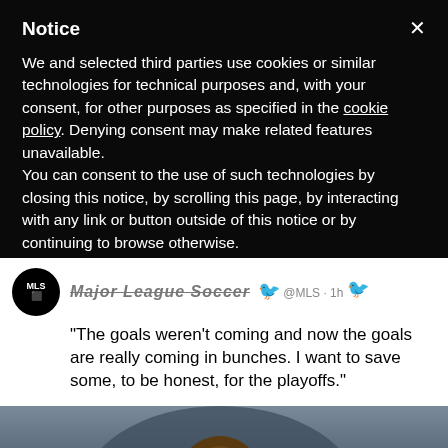Notice
We and selected third parties use cookies or similar technologies for technical purposes and, with your consent, for other purposes as specified in the cookie policy. Denying consent may make related features unavailable.
You can consent to the use of such technologies by closing this notice, by scrolling this page, by interacting with any link or button outside of this notice or by continuing to browse otherwise.
Major League Soccer @MLS · 1h
"The goals weren't coming and now the goals are really coming in bunches. I want to save some, to be honest, for the playoffs."
@PhilaUnion look to continue their impressive form as the regular season winds down.
[Figure (photo): Photo of a soccer player with braided hair, partially visible, dark blurred background]